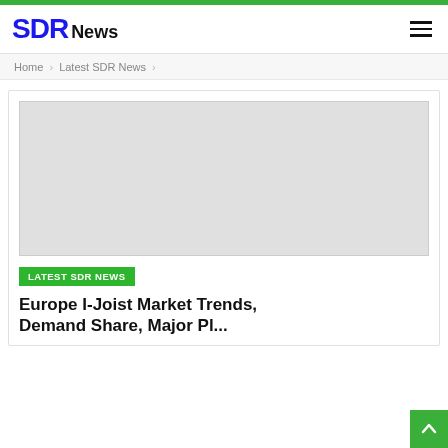SDR News
Home > Latest SDR News >
[Figure (photo): Placeholder image (light gray rectangle)]
LATEST SDR NEWS
Europe I-Joist Market Trends, Demand Share, Major Pl...